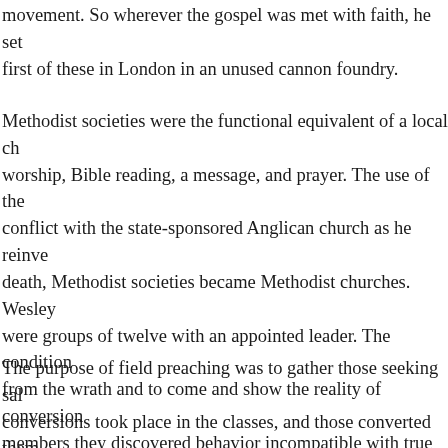movement. So wherever the gospel was met with faith, he set first of these in London in an unused cannon foundry.
Methodist societies were the functional equivalent of a local church worship, Bible reading, a message, and prayer. The use of the conflict with the state-sponsored Anglican church as he reinvented death, Methodist societies became Methodist churches. Wesley were groups of twelve with an appointed leader. The condition from the wrath and to come and show the reality of conversion members they discovered behavior incompatible with true conversion drunkenness. In response, Wesley turned the class meeting into which became the building block of a disciple making movement.
The purpose of field preaching was to gather those seeking salvation conversions took place in the classes, and those converted then discipleship groups. The focus of the classes was on sin.